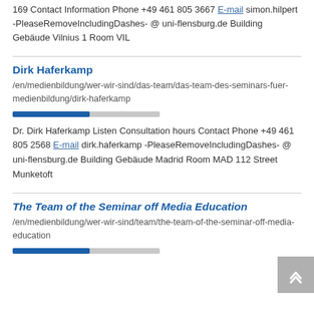169 Contact Information Phone +49 461 805 3667 E-mail simon.hilpert -PleaseRemoveIncludingDashes- @ uni-flensburg.de Building Gebäude Vilnius 1 Room VIL
Dirk Haferkamp
/en/medienbildung/wer-wir-sind/das-team/das-team-des-seminars-fuer-medienbildung/dirk-haferkamp
Dr. Dirk Haferkamp Listen Consultation hours Contact Phone +49 461 805 2568 E-mail dirk.haferkamp -PleaseRemoveIncludingDashes- @ uni-flensburg.de Building Gebäude Madrid Room MAD 112 Street Munketoft
The Team of the Seminar off Media Education
/en/medienbildung/wer-wir-sind/team/the-team-of-the-seminar-off-media-education